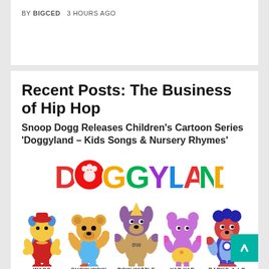BY BIGCED   3 HOURS AGO
Recent Posts: The Business of Hip Hop
Snoop Dogg Releases Children's Cartoon Series 'Doggyland – Kids Songs & Nursery Rhymes'
[Figure (illustration): Doggyland logo and five cartoon dog characters: WAGS, CHOW WOW, BOW WIZZLE, YAP YAP, BARKS-A-LOT]
Snoop Dogg Partners With Master P to Debut Snoop Loopz Cereal